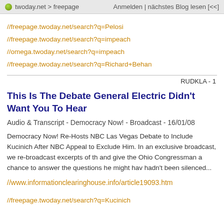twoday.net > freepage    Anmelden | nächstes Blog lesen [<<]
//freepage.twoday.net/search?q=Pelosi
//freepage.twoday.net/search?q=impeach
//omega.twoday.net/search?q=impeach
//freepage.twoday.net/search?q=Richard+Behan
RUDKLA - 1
This Is The Debate General Electric Didn't Want You To Hear
Audio & Transcript - Democracy Now! - Broadcast - 16/01/08
Democracy Now! Re-Hosts NBC Las Vegas Debate to Include Kucinich After NBC Appeal to Exclude Him. In an exclusive broadcast, we re-broadcast excerpts of th and give the Ohio Congressman a chance to answer the questions he might hav hadn't been silenced...
//www.informationclearinghouse.info/article19093.htm
//freepage.twoday.net/search?q=Kucinich